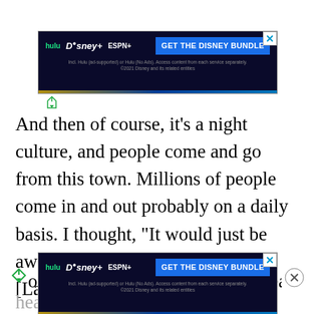[Figure (screenshot): Disney Bundle advertisement banner (hulu, Disney+, ESPN+) with dark background and blue GET THE DISNEY BUNDLE button]
And then of course, it’s a night culture, and people come and go from this town. Millions of people come in and out probably on a daily basis. I thought, “It would just be awesome to be a vampire here.” [Laughs]
So I’d already been rolling that idea around in my head like, “Oh m… es
[Figure (screenshot): Disney Bundle advertisement banner (hulu, Disney+, ESPN+) with dark background and blue GET THE DISNEY BUNDLE button at bottom of page]